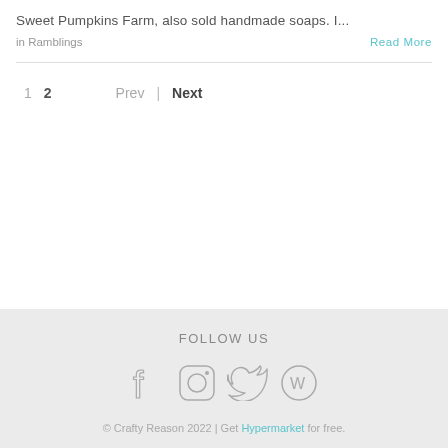Sweet Pumpkins Farm, also sold handmade soaps. I...
in Ramblings
Read More
1  2  Prev  |  Next
FOLLOW US
© Crafty Reason 2022 | Get Hypermarket for free.